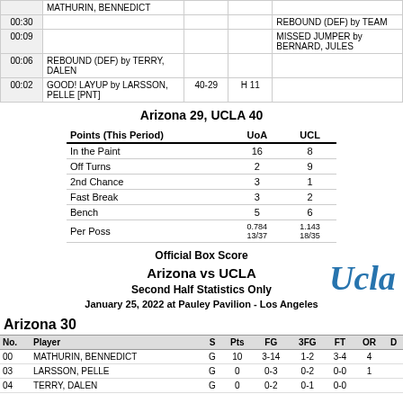| Time | Arizona | Score | Margin | UCLA |
| --- | --- | --- | --- | --- |
|  | MATHURIN, BENNEDICT |  |  |  |
| 00:30 |  |  |  | REBOUND (DEF) by TEAM |
| 00:09 |  |  |  | MISSED JUMPER by BERNARD, JULES |
| 00:06 | REBOUND (DEF) by TERRY, DALEN |  |  |  |
| 00:02 | GOOD! LAYUP by LARSSON, PELLE [PNT] | 40-29 | H 11 |  |
Arizona 29, UCLA 40
| Points (This Period) | UoA | UCL |
| --- | --- | --- |
| In the Paint | 16 | 8 |
| Off Turns | 2 | 9 |
| 2nd Chance | 3 | 1 |
| Fast Break | 3 | 2 |
| Bench | 5 | 6 |
| Per Poss | 0.784
13/37 | 1.143
18/35 |
Official Box Score
Arizona vs UCLA
Second Half Statistics Only
January 25, 2022 at Pauley Pavilion - Los Angeles
[Figure (logo): UCLA script logo in blue]
Arizona 30
| No. | Player | S | Pts | FG | 3FG | FT | OR |
| --- | --- | --- | --- | --- | --- | --- | --- |
| 00 | MATHURIN, BENNEDICT | G | 10 | 3-14 | 1-2 | 3-4 | 4 |
| 03 | LARSSON, PELLE | G | 0 | 0-3 | 0-2 | 0-0 | 1 |
| 04 | TERRY, DALEN | G | 0 | 0-2 | 0-1 | 0-0 |  |